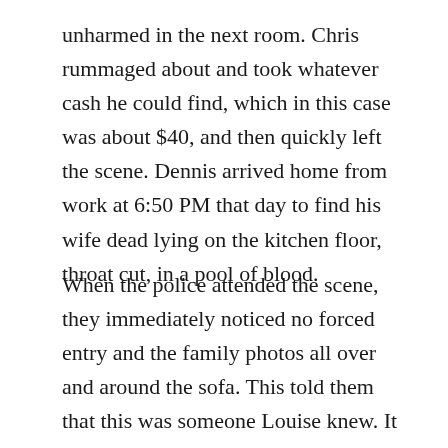unharmed in the next room. Chris rummaged about and took whatever cash he could find, which in this case was about $40, and then quickly left the scene. Dennis arrived home from work at 6:50 PM that day to find his wife dead lying on the kitchen floor, throat cut, in a pool of blood.
When the police attended the scene, they immediately noticed no forced entry and the family photos all over and around the sofa. This told them that this was someone Louise knew. It had been apparent that she had let someone in and was showing him or her photos. Law